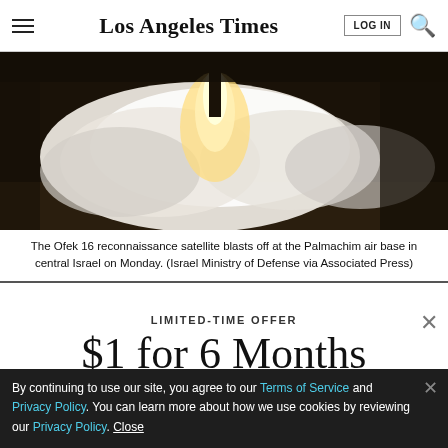Los Angeles Times
[Figure (photo): Rocket launch with large plume of white smoke and bright flame, Ofek 16 reconnaissance satellite blasting off at night from Palmachim air base]
The Ofek 16 reconnaissance satellite blasts off at the Palmachim air base in central Israel on Monday. (Israel Ministry of Defense via Associated Press)
LIMITED-TIME OFFER
$1 for 6 Months
SUBSCRIBE NOW
By continuing to use our site, you agree to our Terms of Service and Privacy Policy. You can learn more about how we use cookies by reviewing our Privacy Policy. Close